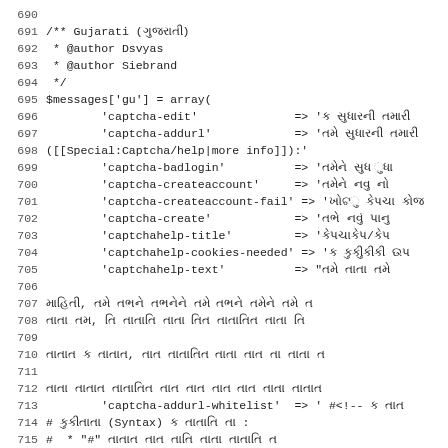Code listing lines 690-721, PHP source file with Gujarati and Hebrew language message arrays